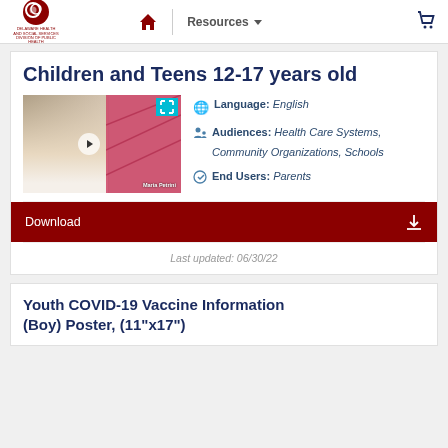Delaware Health and Social Services - Division of Public Health | Resources | Navigation
Children and Teens 12-17 years old
[Figure (screenshot): Video thumbnail showing a healthcare professional (Maria Petrini) in a white coat with a pink background and expand/play icons.]
Language: English
Audiences: Health Care Systems, Community Organizations, Schools
End Users: Parents
Download
Last updated: 06/30/22
Youth COVID-19 Vaccine Information (Boy) Poster, (11"x17")